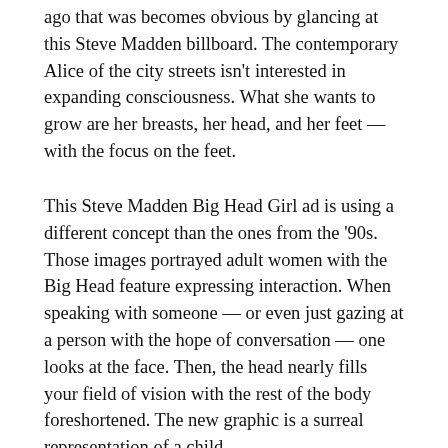ago that was becomes obvious by glancing at this Steve Madden billboard. The contemporary Alice of the city streets isn't interested in expanding consciousness. What she wants to grow are her breasts, her head, and her feet — with the focus on the feet.
This Steve Madden Big Head Girl ad is using a different concept than the ones from the '90s. Those images portrayed adult women with the Big Head feature expressing interaction. When speaking with someone — or even just gazing at a person with the hope of conversation — one looks at the face. Then, the head nearly fills your field of vision with the rest of the body foreshortened. The new graphic is a surreal representation of a child.
The billboard shows a pre-adolescent girl trying on